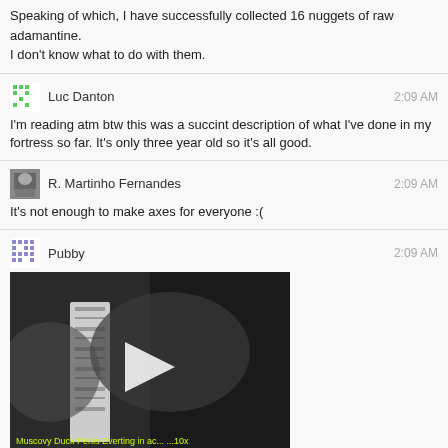Speaking of which, I have successfully collected 16 nuggets of raw adamantine.
I don't know what to do with them.
Luc Danton 2:09 AM
I'm reading atm btw this was a succint description of what I've done in my fortress so far. It's only three year old so it's all good.
R. Martinho Fernandes 2:09 AM
It's not enough to make axes for everyone :(
Pubby 2:09 AM
[Figure (photo): Black and white video thumbnail showing hands holding a ruler against animal flesh/feathers, with a play button. Caption: Muscovy Duck Penis Everting in ac... ...10x]
Luc Danton 2:09 AM
You like axes? I'm more of a mace person myself.
R. Martinho Fernandes 2:10 AM